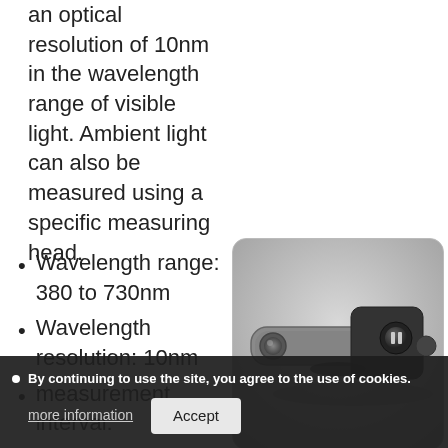an optical resolution of 10nm in the wavelength range of visible light. Ambient light can also be measured using a specific measuring head.
Wavelength range: 380 to 730nm
Wavelength resolution: 10nm
measurement interval:
[Figure (photo): A handheld optical measuring device, grey and black in color, with a lens aperture on one end and a button on the top. The device has a compact ergonomic body.]
By continuing to use the site, you agree to the use of cookies.
more information    Accept